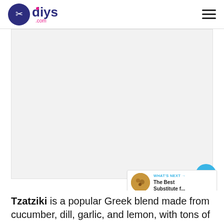diys.com
[Figure (photo): Large rectangular image placeholder, light gray background, main article hero image for Tzatziki article]
[Figure (other): What's Next widget showing a thumbnail of food items with text 'WHAT'S NEXT → The Best Substitute f...']
Tzatziki is a popular Greek blend made from cucumber, dill, garlic, and lemon, with tons of